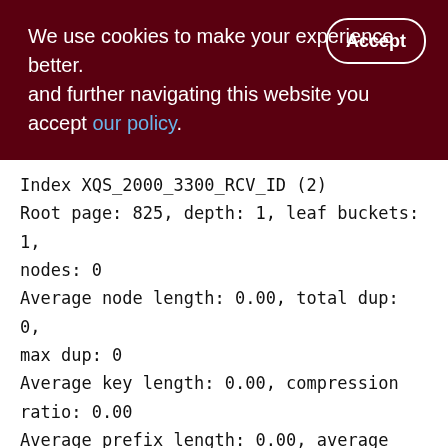We use cookies to make your experience better. By accepting and further navigating this website you accept our policy.
Index XQS_2000_3300_RCV_ID (2)
Root page: 825, depth: 1, leaf buckets: 1, nodes: 0
Average node length: 0.00, total dup: 0, max dup: 0
Average key length: 0.00, compression ratio: 0.00
Average prefix length: 0.00, average data length: 0.00
Clustering factor: 0, ratio: 0.00
Fill distribution:
0 - 19% = 1